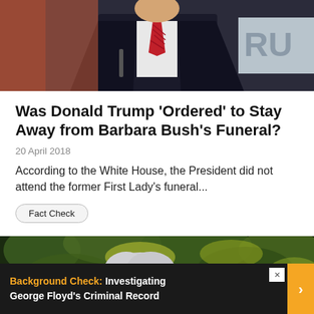[Figure (photo): Man in dark suit with red striped tie speaking, partial view, 'RU' text visible in background]
Was Donald Trump ‘Ordered’ to Stay Away from Barbara Bush’s Funeral?
20 April 2018
According to the White House, the President did not attend the former First Lady's funeral...
Fact Check
[Figure (photo): Elderly woman with white/grey hair outdoors, leaves/foliage in background]
Background Check:  Investigating George Floyd’s Criminal Record